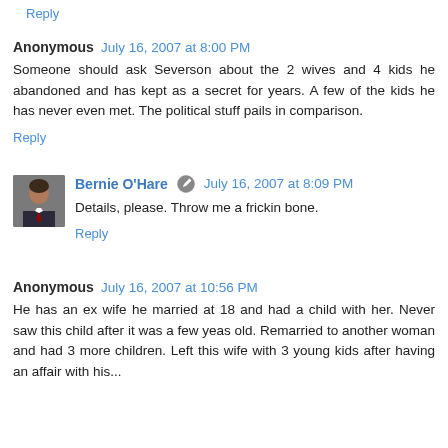Reply
Anonymous  July 16, 2007 at 8:00 PM
Someone should ask Severson about the 2 wives and 4 kids he abandoned and has kept as a secret for years. A few of the kids he has never even met. The political stuff pails in comparison.
Reply
Bernie O'Hare  July 16, 2007 at 8:09 PM
Details, please. Throw me a frickin bone.
Reply
Anonymous  July 16, 2007 at 10:56 PM
He has an ex wife he married at 18 and had a child with her. Never saw this child after it was a few yeas old. Remarried to another woman and had 3 more children. Left this wife with 3 young kids after having an affair with his...